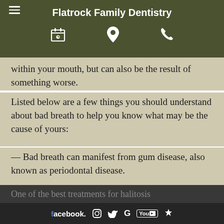Flatrock Family Dentistry
within your mouth, but can also be the result of something worse.
Listed below are a few things you should understand about bad breath to help you know what may be the cause of yours:
— Bad breath can manifest from gum disease, also known as periodontal disease.
One of the best treatments for halitosis
facebook  [instagram]  [twitter]  G  YouTube  [yelp]